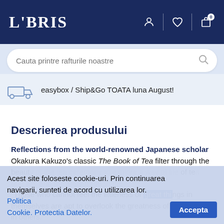LIBRIS
Cauta printre rafturile noastre
easybox / Ship&Go TOATA luna August!
Descrierea produsului
Reflections from the world-renowned Japanese scholar Okakura Kakuzo's classic The Book of Tea filter through the beauty of the tea ceremony to explore a way of life, and the art of tea and life. And the story through the ages. "Those who cannot feel the littleness of great things in themselves are apt to overlook the greatness of little things in others."
Acest site foloseste cookie-uri. Prin continuarea navigarii, sunteti de acord cu utilizarea lor. Politica Cookie. Protectia Datelor.